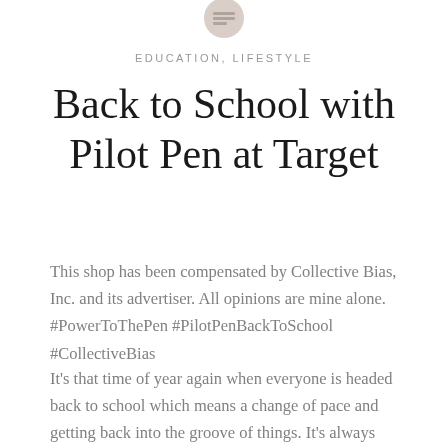EDUCATION, LIFESTYLE
Back to School with Pilot Pen at Target
This shop has been compensated by Collective Bias, Inc. and its advertiser. All opinions are mine alone. #PowerToThePen #PilotPenBackToSchool #CollectiveBias
It's that time of year again when everyone is headed back to school which means a change of pace and getting back into the groove of things. It's always hard to tell if its harder on the kids, parents or teachers. For